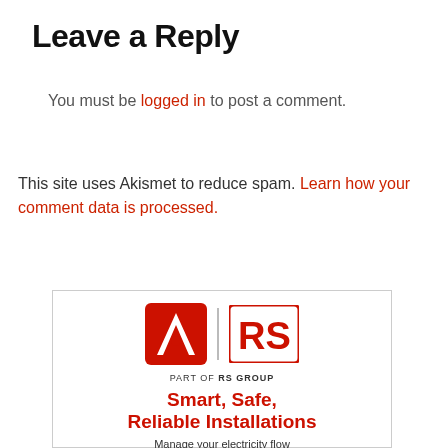Leave a Reply
You must be logged in to post a comment.
This site uses Akismet to reduce spam. Learn how your comment data is processed.
[Figure (logo): Advertisement banner for Allied Electronics / RS Group. Shows the Allied Electronics 'A' logo and RS logo side by side with text 'PART OF RS GROUP'. Below, bold red text reads 'Smart, Safe, Reliable Installations' and smaller text 'Manage your electricity flow with confidence'.]